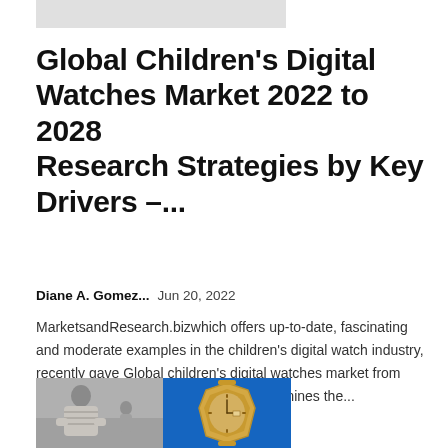[Figure (photo): Gray placeholder image bar at the top of the page]
Global Children’s Digital Watches Market 2022 to 2028 Research Strategies by Key Drivers –...
Diane A. Gomez...    Jun 20, 2022
MarketsandResearch.bizwhich offers up-to-date, fascinating and moderate examples in the children’s digital watch industry, recently gave Global children’s digital watches market from 2022 to 2028. The concentrate also examines the...
[Figure (photo): Two side-by-side images: left shows a man in a striped sweater, right shows a gold luxury wristwatch on a blue background]